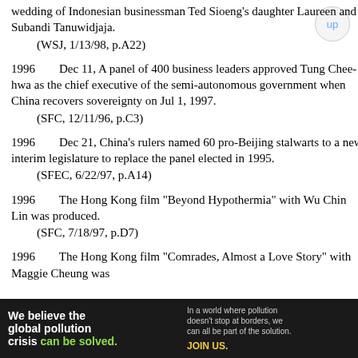wedding of Indonesian businessman Ted Sioeng's daughter Laureen and Subandi Tanuwidjaja.
    (WSJ, 1/13/98, p.A22)
1996        Dec 11, A panel of 400 business leaders approved Tung Chee-hwa as the chief executive of the semi-autonomous government when China recovers sovereignty on Jul 1, 1997.
    (SFC, 12/11/96, p.C3)
1996        Dec 21, China's rulers named 60 pro-Beijing stalwarts to a new interim legislature to replace the panel elected in 1995.
    (SFEC, 6/22/97, p.A14)
1996        The Hong Kong film "Beyond Hypothermia" with Wu Chin Lin was produced.
    (SFC, 7/18/97, p.D7)
1996        The Hong Kong film "Comrades, Almost a Love Story" with Maggie Cheung was
[Figure (infographic): Advertisement banner for Pure Earth organization. Dark background with text: 'We believe the global pollution crisis can be solved.' and 'In a world where pollution doesn't stop at borders, we can all be part of the solution. JOIN US.' with orange/yellow diamond logo and PURE EARTH text.]